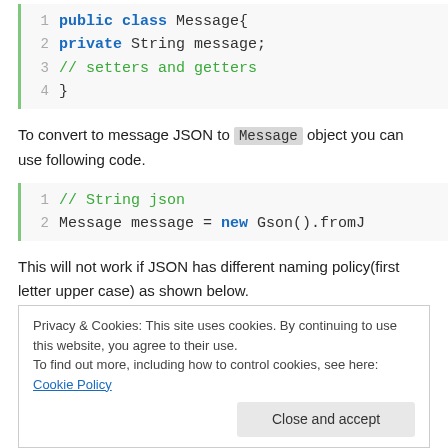[Figure (screenshot): Code block showing Java class with line numbers 1-4: public class Message{ private String message; // setters and getters }]
To convert to message JSON to Message object you can use following code.
[Figure (screenshot): Code block with line numbers 1-2: // String json  Message message = new Gson().fromJ]
This will not work if JSON has different naming policy(first letter upper case) as shown below.
Privacy & Cookies: This site uses cookies. By continuing to use this website, you agree to their use.
To find out more, including how to control cookies, see here: Cookie Policy
Gson with UPPER_CAMEL_CASE as field naming policy.